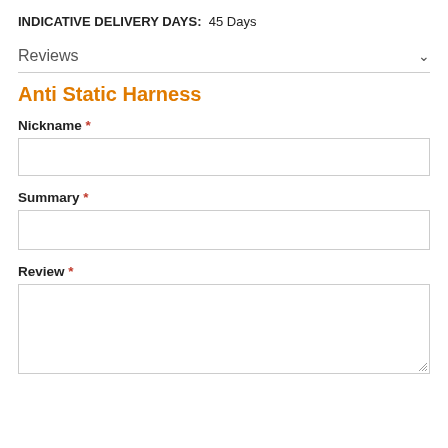INDICATIVE DELIVERY DAYS:  45 Days
Reviews
Anti Static Harness
Nickname *
Summary *
Review *